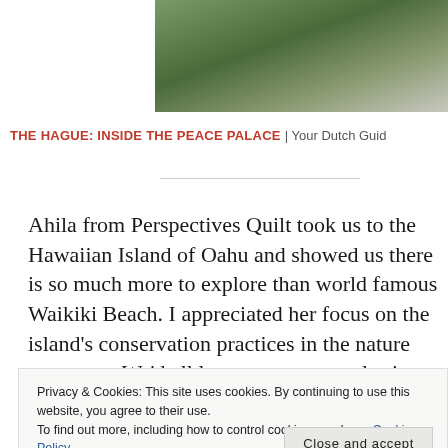[Figure (photo): Partial view of people in white shirts near green plants/trees]
THE HAGUE: INSIDE THE PEACE PALACE | Your Dutch Guid...
Ahila from Perspectives Quilt took us to the Hawaiian Island of Oahu and showed us there is so much more to explore than world famous Waikiki Beach. I appreciated her focus on the island's conservation practices in the nature preserves. We'd all love to see sea turtles in the
Privacy & Cookies: This site uses cookies. By continuing to use this website, you agree to their use.
To find out more, including how to control cookies, see here: Cookie Policy
Close and accept
[Figure (photo): Partial view of outdoor scene, bottom of page]